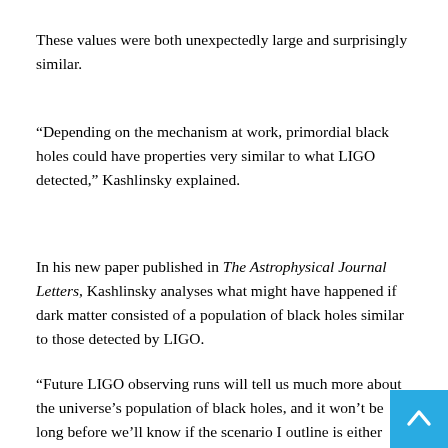These values were both unexpectedly large and surprisingly similar.
“Depending on the mechanism at work, primordial black holes could have properties very similar to what LIGO detected,” Kashlinsky explained.
In his new paper published in The Astrophysical Journal Letters, Kashlinsky analyses what might have happened if dark matter consisted of a population of black holes similar to those detected by LIGO.
“Future LIGO observing runs will tell us much more about the universe’s population of black holes, and it won’t be long before we’ll know if the scenario I outline is either supported or ruled out,” Kashlinsky added.